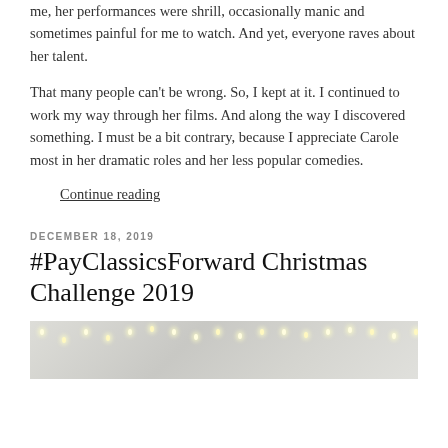me, her performances were shrill, occasionally manic and sometimes painful for me to watch.  And yet, everyone raves about her talent.
That many people can't be wrong. So, I kept at it. I continued to work my way through her films. And along the way I discovered something. I must be a bit contrary, because I appreciate Carole most in her dramatic roles and her less popular comedies.
Continue reading
DECEMBER 18, 2019
#PayClassicsForward Christmas Challenge 2019
[Figure (photo): A light-colored photo showing Christmas lights or pearls/beads strung across, with a light, airy holiday feel. Partial image visible at bottom of page.]